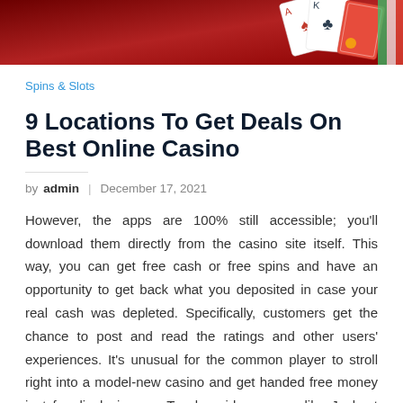[Figure (illustration): Red casino-themed banner with playing cards on the right side]
Spins & Slots
9 Locations To Get Deals On Best Online Casino
by admin | December 17, 2021
However, the apps are 100% still accessible; you'll download them directly from the casino site itself. This way, you can get free cash or free spins and have an opportunity to get back what you deposited in case your real cash was depleted. Specifically, customers get the chance to post and read the ratings and other users' experiences. It's unusual for the common player to stroll right into a model-new casino and get handed free money just for displaying up. To play video games like Jackpot Occasion for money prizes, please visit our actual cash slots page – you could find a listing of one of the